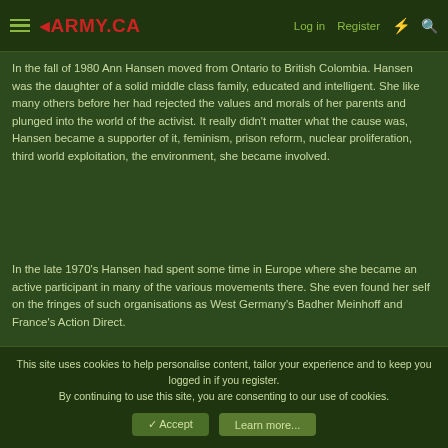4ARMY.CA  Log in  Register
In the fall of 1980 Ann Hansen moved from Ontario to British Colombia. Hansen was the daughter of a solid middle class family, educated and intelligent. She like many others before her had rejected the values and morals of her parents and plunged into the world of the activist. It really didn't matter what the cause was, Hansen became a supporter of it, feminism, prison reform, nuclear proliferation, third world exploitation, the environment, she became involved.
In the late 1970's Hansen had spent some time in Europe where she became an active participant in many of the various movements there. She even found her self on the fringes of such organisations as West Germany's Badher Meinhoff and France's Action Direct.
This site uses cookies to help personalise content, tailor your experience and to keep you logged in if you register.
By continuing to use this site, you are consenting to our use of cookies.